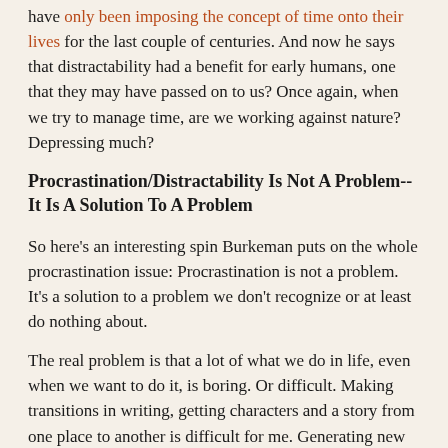have only been imposing the concept of time onto their lives for the last couple of centuries. And now he says that distractability had a benefit for early humans, one that they may have passed on to us? Once again, when we try to manage time, are we working against nature?  Depressing much?
Procrastination/Distractability Is Not A Problem--It Is A Solution To A Problem
So here's an interesting spin Burkeman puts on the whole procrastination issue: Procrastination is not a problem. It's a solution to a problem we don't recognize or at least do nothing about.
The real problem is that a lot of what we do in life, even when we want to do it, is boring. Or difficult. Making transitions in writing, getting characters and a story from one place to another is difficult for me. Generating new material for gaps in stories is very, very difficult for me. The solution for dealing with those real problems is to flee to something else, say, Facebook or checking the news or almost anything else I can easily get to on-line.
A very easy, nonwriting illustration of what I'm talking about, is